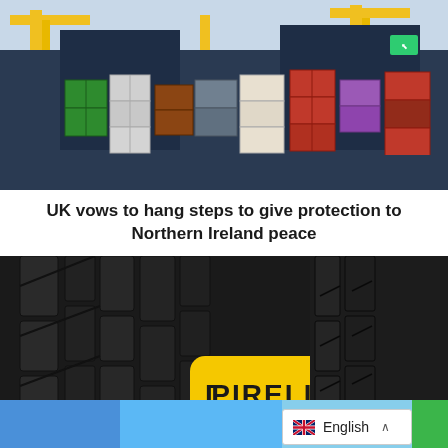[Figure (photo): Port scene with stacked shipping containers in multiple colors and large yellow cranes against a pale sky]
UK vows to hang steps to give protection to Northern Ireland peace
[Figure (photo): Close-up of Pirelli tire tread with yellow Pirelli branded tag visible]
Pirelli moves to soften Ukraine affect as income upward thrust
[Figure (other): Footer bar with blue, light blue, language selector showing English with UK flag, and green sections]